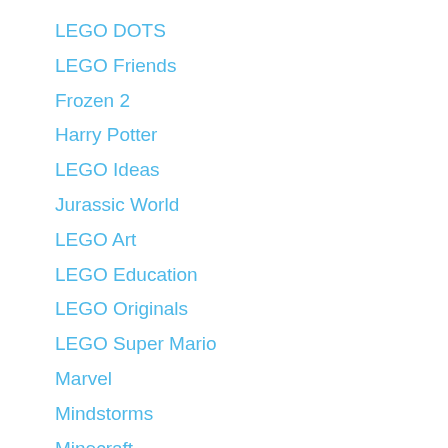LEGO DOTS
LEGO Friends
Frozen 2
Harry Potter
LEGO Ideas
Jurassic World
LEGO Art
LEGO Education
LEGO Originals
LEGO Super Mario
Marvel
Mindstorms
Minecraft
Minifigures
Minions